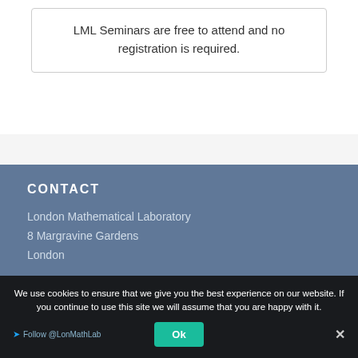LML Seminars are free to attend and no registration is required.
CONTACT
London Mathematical Laboratory
8 Margravine Gardens
London
We use cookies to ensure that we give you the best experience on our website. If you continue to use this site we will assume that you are happy with it.